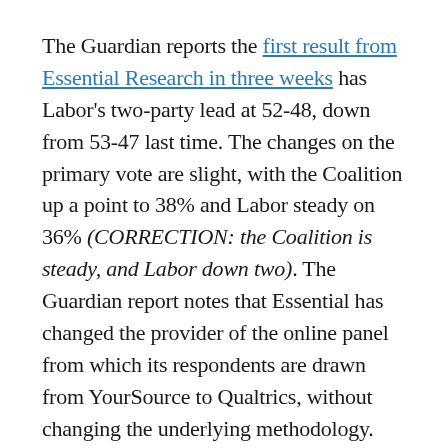The Guardian reports the first result from Essential Research in three weeks has Labor's two-party lead at 52-48, down from 53-47 last time. The changes on the primary vote are slight, with the Coalition up a point to 38% and Labor steady on 36% (CORRECTION: the Coalition is steady, and Labor down two). The Guardian report notes that Essential has changed the provider of the online panel from which its respondents are drawn from YourSource to Qualtrics, without changing the underlying methodology. Perhaps relatedly, the sample size is identified as 1652, where in the past it has been a little over 1000. The Guardian provides no further findings from attitudinal questions… we'll see if the release...